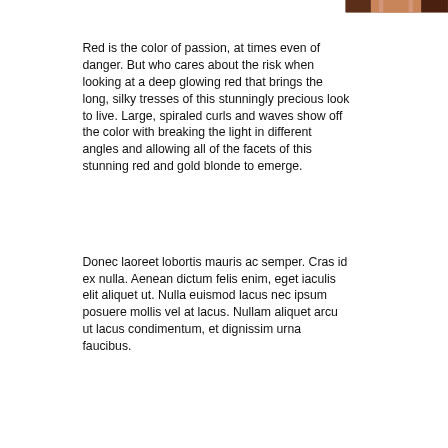[Figure (photo): Partial photo of a person, cropped at top right corner showing face/hair area]
Red is the color of passion, at times even of danger. But who cares about the risk when looking at a deep glowing red that brings the long, silky tresses of this stunningly precious look to live. Large, spiraled curls and waves show off the color with breaking the light in different angles and allowing all of the facets of this stunning red and gold blonde to emerge.
Donec laoreet lobortis mauris ac semper. Cras id ex nulla. Aenean dictum felis enim, eget iaculis elit aliquet ut. Nulla euismod lacus nec ipsum posuere mollis vel at lacus. Nullam aliquet arcu ut lacus condimentum, et dignissim urna faucibus.